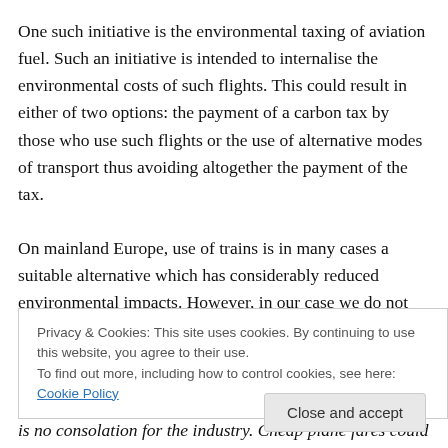One such initiative is the environmental taxing of aviation fuel. Such an initiative is intended to internalise the environmental costs of such flights. This could result in either of two options: the payment of a carbon tax by those who use such flights or the use of alternative modes of transport thus avoiding altogether the payment of the tax.
On mainland Europe, use of trains is in many cases a suitable alternative which has considerably reduced environmental impacts. However, in our case we do not
Privacy & Cookies: This site uses cookies. By continuing to use this website, you agree to their use.
To find out more, including how to control cookies, see here: Cookie Policy
is no consolation for the industry. Cheap plane fares could